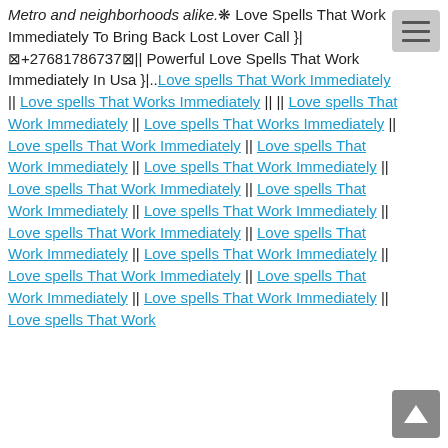Metro and neighborhoods alike.❋ Love Spells That Work Immediately To Bring Back Lost Lover Call }| ⊠+27681786737⊠|| Powerful Love Spells That Work Immediately In Usa }|.. Love spells That Work Immediately || Love spells That Works Immediately || || Love spells That Work Immediately || Love spells That Works Immediately || Love spells That Work Immediately || Love spells That Work Immediately || Love spells That Work Immediately || Love spells That Work Immediately || Love spells That Work Immediately || Love spells That Work Immediately || Love spells That Work Immediately || Love spells That Work Immediately || Love spells That Work Immediately || Love spells That Work Immediately || Love spells That Work Immediately || Love spells That Work Immediately || Love spells That Work